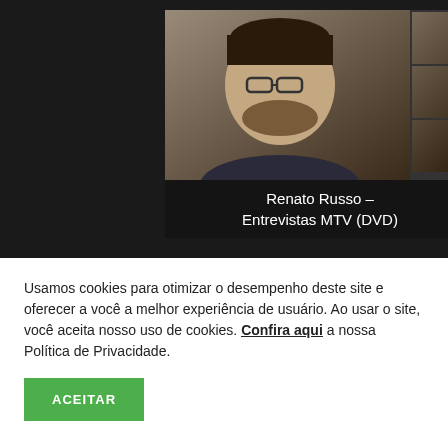[Figure (screenshot): Thumbnail of Renato Russo – Entrevistas MTV (DVD) video on a dark background website, with small side thumbnails]
Renato Russo – Entrevistas MTV (DVD)
[Figure (logo): YouTube logo on dark background with navigation arrow icon]
Usamos cookies para otimizar o desempenho deste site e oferecer a você a melhor experiência de usuário. Ao usar o site, você aceita nosso uso de cookies. Confira aqui a nossa Política de Privacidade.
ACEITAR